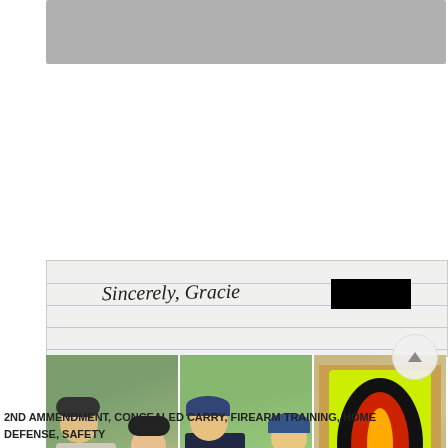[Figure (photo): A collage image showing: top portion is a gray rectangular area (partially cropped header image), middle section shows a handwritten note on lined paper with text 'Sincerely, Gracie [redacted black box]', below that are three photos side by side showing people at a shooting range holding targets, and at the bottom partial text on lined paper reading 'I think this is a really fun class although it seems scary in the']
2ND AMMENDMENT, CONCEALED CARRY, FIREARM TRAINING, HOME DEFENSE, SAFETY